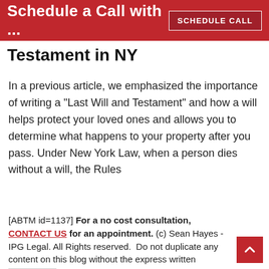Schedule a Call with ...
Testament in NY
In a previous article, we emphasized the importance of writing a “Last Will and Testament” and how a will helps protect your loved ones and allows you to determine what happens to your property after you pass. Under New York Law, when a person dies without a will, the Rules
[ABTM id=1137] For a no cost consultation, CONTACT US for an appointment. (c) Sean Hayes - IPG Legal. All Rights reserved.  Do not duplicate any content on this blog without the express written permission of the author. info@ipglegal.com.